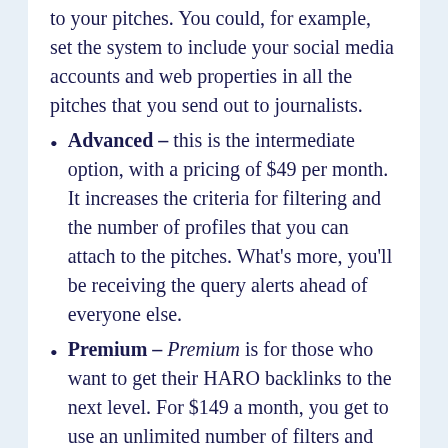to your pitches. You could, for example, set the system to include your social media accounts and web properties in all the pitches that you send out to journalists.
Advanced – this is the intermediate option, with a pricing of $49 per month. It increases the criteria for filtering and the number of profiles that you can attach to the pitches. What's more, you'll be receiving the query alerts ahead of everyone else.
Premium – Premium is for those who want to get their HARO backlinks to the next level. For $149 a month, you get to use an unlimited number of filters and bio attachments. HARO even tops it all off with additional support privileges, just in case you'll need specialized guidance along the